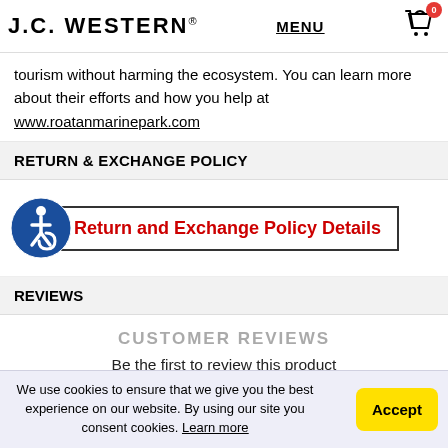J.C. WESTERN® | MENU | Cart 0
tourism without harming the ecosystem. You can learn more about their efforts and how you help at www.roatanmarinepark.com
RETURN & EXCHANGE POLICY
[Figure (other): Accessibility icon (wheelchair user in blue circle) alongside a bordered button with red bold text: 'Return and Exchange Policy Details']
REVIEWS
CUSTOMER REVIEWS
Be the first to review this product
Write a review
We use cookies to ensure that we give you the best experience on our website. By using our site you consent cookies. Learn more
Accept